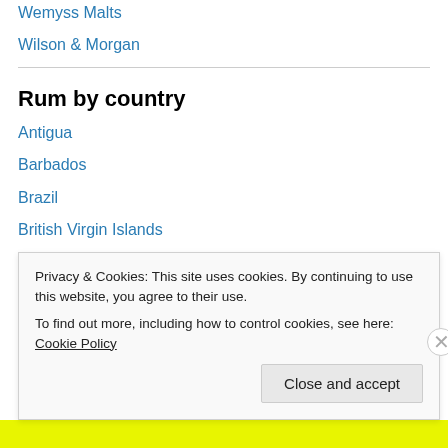Wemyss Malts
Wilson & Morgan
Rum by country
Antigua
Barbados
Brazil
British Virgin Islands
Cuba
Dominican Republic
Guatemala
Guyana
Privacy & Cookies: This site uses cookies. By continuing to use this website, you agree to their use.
To find out more, including how to control cookies, see here: Cookie Policy
Close and accept